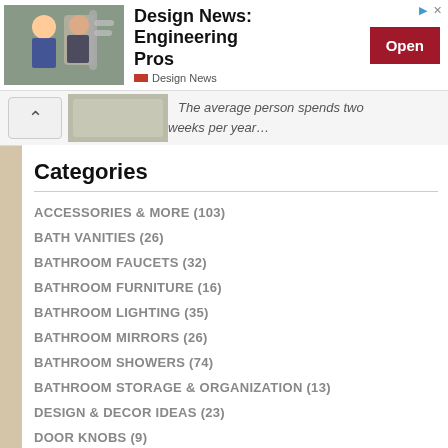[Figure (photo): Advertisement banner: Design News Engineering Pros with photo of two men with robotic arm, Open button]
The average person spends two weeks per year…
Categories
ACCESSORIES & MORE (103)
BATH VANITIES (26)
BATHROOM FAUCETS (32)
BATHROOM FURNITURE (16)
BATHROOM LIGHTING (35)
BATHROOM MIRRORS (26)
BATHROOM SHOWERS (74)
BATHROOM STORAGE & ORGANIZATION (13)
DESIGN & DECOR IDEAS (23)
DOOR KNOBS (9)